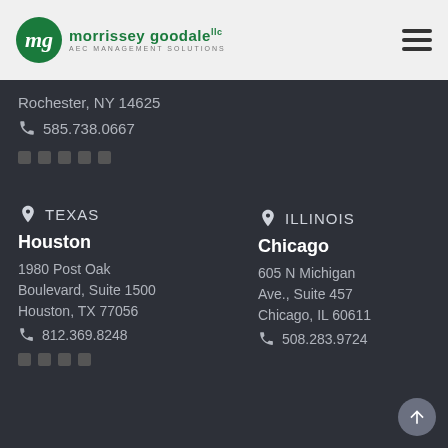[Figure (logo): Morrissey Goodale AEC Management Solutions logo with green circle and company name]
Rochester, NY 14625
585.738.0667
TEXAS
Houston
1980 Post Oak Boulevard, Suite 1500
Houston, TX 77056
812.369.8248
ILLINOIS
Chicago
605 N Michigan Ave., Suite 457
Chicago, IL 60611
508.283.9724